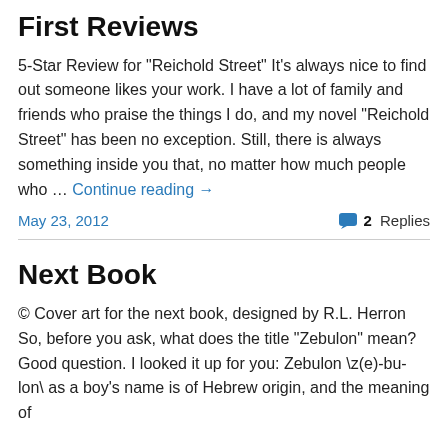First Reviews
5-Star Review for "Reichold Street" It's always nice to find out someone likes your work. I have a lot of family and friends who praise the things I do, and my novel "Reichold Street" has been no exception. Still, there is always something inside you that, no matter how much people who … Continue reading →
May 23, 2012    2 Replies
Next Book
© Cover art for the next book, designed by R.L. Herron So, before you ask, what does the title "Zebulon" mean? Good question. I looked it up for you: Zebulon \z(e)-bu-lon\ as a boy's name is of Hebrew origin, and the meaning of